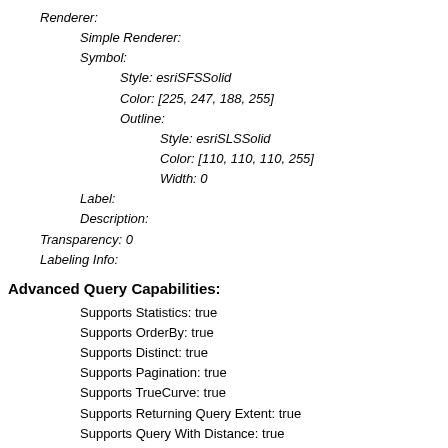Renderer:
Simple Renderer:
Symbol:
Style: esriSFSSolid
Color: [225, 247, 188, 255]
Outline:
Style: esriSLSSolid
Color: [110, 110, 110, 255]
Width: 0
Label:
Description:
Transparency: 0
Labeling Info:
Advanced Query Capabilities:
Supports Statistics: true
Supports OrderBy: true
Supports Distinct: true
Supports Pagination: true
Supports TrueCurve: true
Supports Returning Query Extent: true
Supports Query With Distance: true
Supports Sql Expression: true
Supports Query With ResultType: false
Supports Returning Geometry Centroid: false
Supports Binning LOD: false
Supports Query With LOD Spatial Reference: false